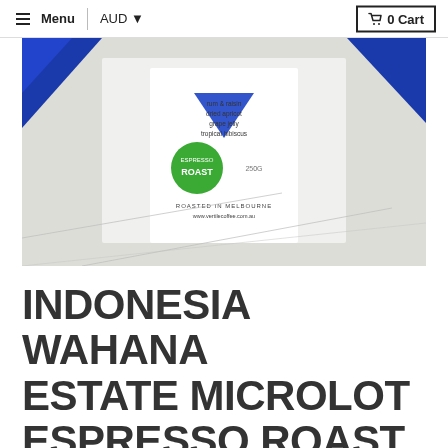≡ Menu  |  AUD ▼  🛒 0 Cart
[Figure (photo): Photo of a white coffee bag/package with an 'ESPRESSO ROAST' green circular label, text reading 'rum & raisin, dried apricot, grape jelly, tropical hibiscus', '250g', 'ROASTED IN MELBOURNE www.vertilecoffee.com.au', placed against a white geometric background with blue accents.]
INDONESIA WAHANA ESTATE MICROLOT ESPRESSO ROAST